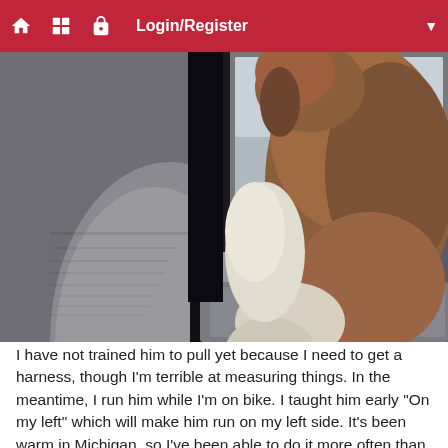Login/Register
[Figure (photo): A dog viewed from behind, sitting in a car's rear seat area between two seat backs, showing its back, tail, and paws resting on the gray upholstered seat.]
I have not trained him to pull yet because I need to get a harness, though I'm terrible at measuring things. In the meantime, I run him while I'm on bike. I taught him early "On my left" which will make him run on my left side. It's been warm in Michigan, so I've been able to do it more often than